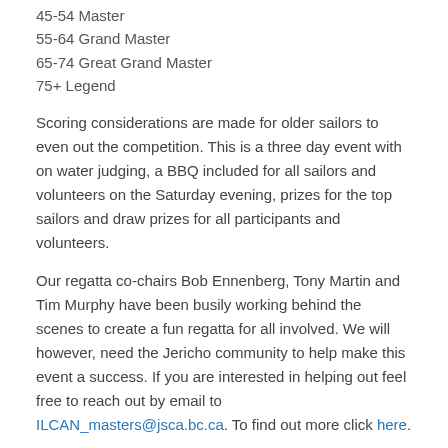45-54 Master
55-64 Grand Master
65-74 Great Grand Master
75+ Legend
Scoring considerations are made for older sailors to even out the competition. This is a three day event with on water judging, a BBQ included for all sailors and volunteers on the Saturday evening, prizes for the top sailors and draw prizes for all participants and volunteers.
Our regatta co-chairs Bob Ennenberg, Tony Martin and Tim Murphy have been busily working behind the scenes to create a fun regatta for all involved. We will however, need the Jericho community to help make this event a success. If you are interested in helping out feel free to reach out by email to ILCAN_masters@jsca.bc.ca. To find out more click here.
Don't Feed the Rabbits
[Figure (photo): Partial view of a photo, appears to show an outdoor scene, bottom portion of the page]